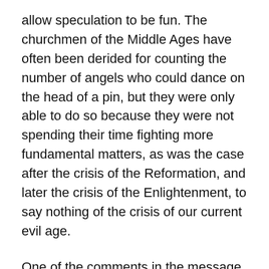allow speculation to be fun. The churchmen of the Middle Ages have often been derided for counting the number of angels who could dance on the head of a pin, but they were only able to do so because they were not spending their time fighting more fundamental matters, as was the case after the crisis of the Reformation, and later the crisis of the Enlightenment, to say nothing of the crisis of our current evil age.
One of the comments in the message that struck me as a bit gratuitous was the comment, quoted from another, that one finds nuts at the end of branches. And indeed one does, if one is growing nut trees. But if one is growing nut trees then the nuts at the end of the branches are precisely the sort of fruit that one wants to grow for one's own food supply or for sale. One could just as easily have mulberries or kumquats or oranges or pears or apples or